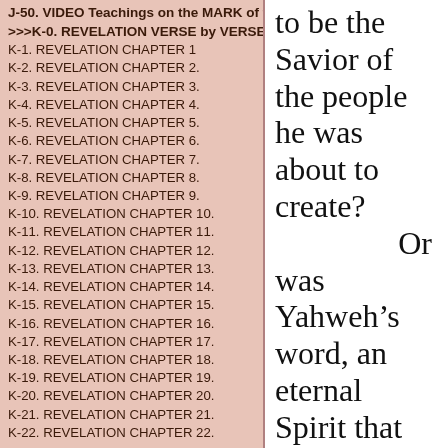J-50. VIDEO Teachings on the MARK of the BEAST!
>>>K-0. REVELATION VERSE by VERSE<<<
K-1. REVELATION CHAPTER 1
K-2. REVELATION CHAPTER 2.
K-3. REVELATION CHAPTER 3.
K-4. REVELATION CHAPTER 4.
K-5. REVELATION CHAPTER 5.
K-6. REVELATION CHAPTER 6.
K-7. REVELATION CHAPTER 7.
K-8. REVELATION CHAPTER 8.
K-9. REVELATION CHAPTER 9.
K-10. REVELATION CHAPTER 10.
K-11. REVELATION CHAPTER 11.
K-12. REVELATION CHAPTER 12.
K-13. REVELATION CHAPTER 13.
K-14. REVELATION CHAPTER 14.
K-15. REVELATION CHAPTER 15.
K-16. REVELATION CHAPTER 16.
K-17. REVELATION CHAPTER 17.
K-18. REVELATION CHAPTER 18.
K-19. REVELATION CHAPTER 19.
K-20. REVELATION CHAPTER 20.
K-21. REVELATION CHAPTER 21.
K-22. REVELATION CHAPTER 22.
to be the Savior of the people he was about to create?

Or was Yahweh’s word, an eternal Spirit that was named the Word, who was with